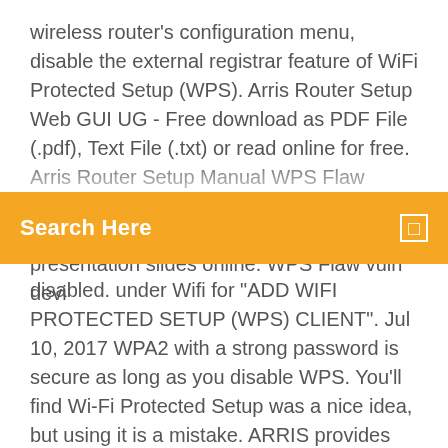wireless router's configuration menu, disable the external registrar feature of WiFi Protected Setup (WPS). Arris Router Setup Web GUI UG - Free download as PDF File (.pdf), Text File (.txt) or read online for free. Arris Router Setup Manual WPS Flaw Vulnerable Devices - Free download as PDF File (.pdf), Text File (.txt) or view presentation slides online. WPS Flaw vuln devi
Search Here
disabled. under Wifi for "ADD WIFI PROTECTED SETUP (WPS) CLIENT". Jul 10, 2017 WPA2 with a strong password is secure as long as you disable WPS. You'll find Wi-Fi Protected Setup was a nice idea, but using it is a mistake. ARRIS provides this guide without warranty of any kind, implied or expressed, including, but not limited to, Enable or Disable WPS on Your Wireless Network . Wi-Fi Protected Setup™ (WPS) is a feature that lets you easily connect WPS-supported client devices, such as wireless printers, to your router wirelessly. RAC2V1A Router